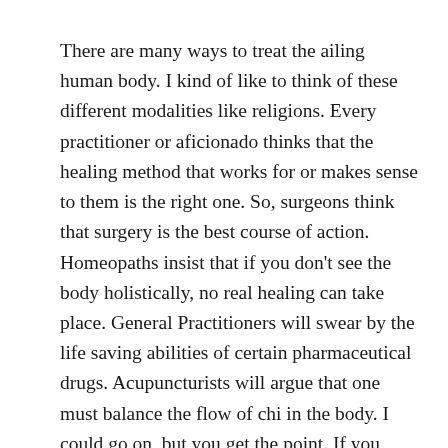There are many ways to treat the ailing human body. I kind of like to think of these different modalities like religions. Every practitioner or aficionado thinks that the healing method that works for or makes sense to them is the right one. So, surgeons think that surgery is the best course of action. Homeopaths insist that if you don't see the body holistically, no real healing can take place. General Practitioners will swear by the life saving abilities of certain pharmaceutical drugs. Acupuncturists will argue that one must balance the flow of chi in the body. I could go on, but you get the point. If you visited any of these practitioners with the same illness, you'd get completely different